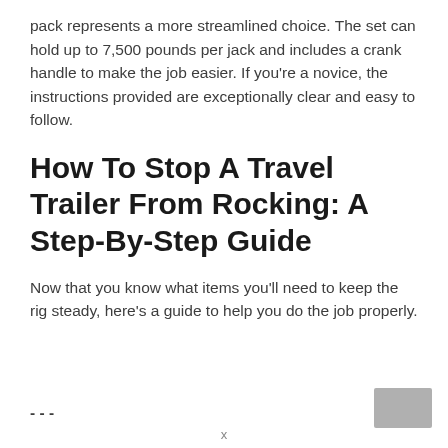pack represents a more streamlined choice. The set can hold up to 7,500 pounds per jack and includes a crank handle to make the job easier. If you’re a novice, the instructions provided are exceptionally clear and easy to follow.
How To Stop A Travel Trailer From Rocking: A Step-By-Step Guide
Now that you know what items you’ll need to keep the rig steady, here’s a guide to help you do the job properly.